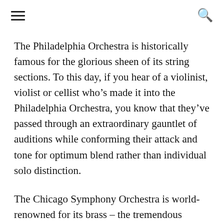[hamburger menu] [search icon]
The Philadelphia Orchestra is historically famous for the glorious sheen of its string sections. To this day, if you hear of a violinist, violist or cellist who’s made it into the Philadelphia Orchestra, you know that they’ve passed through an extraordinary gauntlet of auditions while conforming their attack and tone for optimum blend rather than individual solo distinction.
The Chicago Symphony Orchestra is world-renowned for its brass – the tremendous bloom of its trumpets, trombones and French horns. If it’s that extra little kick or thrill that you want at the peak of a Beethoven symphony or Verdi overture or Richard Strauss tone poem, then the Chicago sound is for you. Other